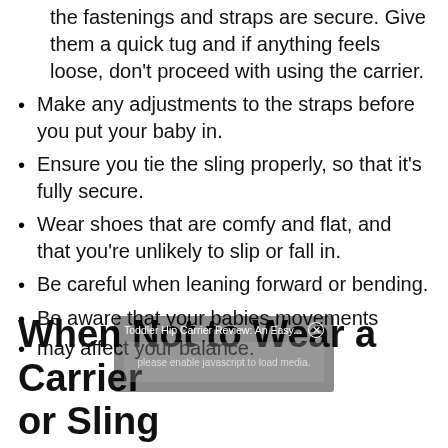the fastenings and straps are secure. Give them a quick tug and if anything feels loose, don't proceed with using the carrier.
Make any adjustments to the straps before you put your baby in.
Ensure you tie the sling properly, so that it's fully secure.
Wear shoes that are comfy and flat, and that you're unlikely to slip or fall in.
Be careful when leaning forward or bending.
Be aware that your babies movements
may affect your balance.
When Not to Wear a Carrier or Sling